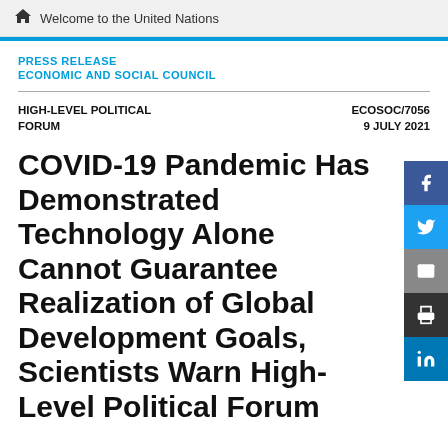Welcome to the United Nations
PRESS RELEASE
ECONOMIC AND SOCIAL COUNCIL
HIGH-LEVEL POLITICAL FORUM
ECOSOC/7056
9 JULY 2021
COVID-19 Pandemic Has Demonstrated Technology Alone Cannot Guarantee Realization of Global Development Goals, Scientists Warn High-Level Political Forum